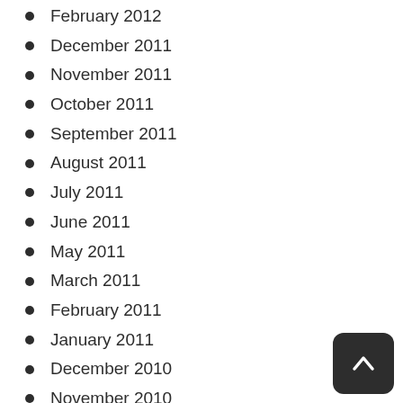February 2012
December 2011
November 2011
October 2011
September 2011
August 2011
July 2011
June 2011
May 2011
March 2011
February 2011
January 2011
December 2010
November 2010
September 2010
August 2010